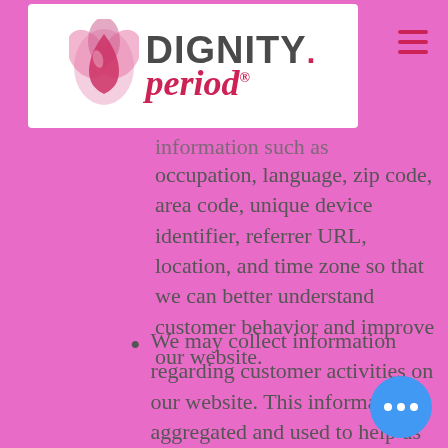[Figure (logo): Dignity Period logo with pink flower/drop icon, text DIGNITY in bold uppercase and 'period' in italic cursive red, with hamburger menu icon]
information such as occupation, language, zip code, area code, unique device identifier, referrer URL, location, and time zone so that we can better understand customer behavior and improve our website.
We may collect information regarding customer activities on our website. This information is aggregated and used to help us provide more